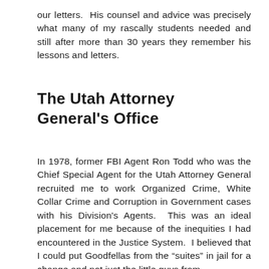our letters. His counsel and advice was precisely what many of my rascally students needed and still after more than 30 years they remember his lessons and letters.
The Utah Attorney General's Office
In 1978, former FBI Agent Ron Todd who was the Chief Special Agent for the Utah Attorney General recruited me to work Organized Crime, White Collar Crime and Corruption in Government cases with his Division's Agents. This was an ideal placement for me because of the inequities I had encountered in the Justice System. I believed that I could put Goodfellas from the “suites” in jail for a change and not just the little guys from